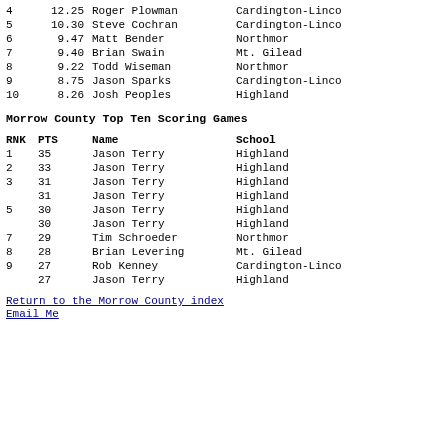| RNK | PTS | Name | School |
| --- | --- | --- | --- |
| 4 | 12.25 | Roger Plowman | Cardington-Lincoln |
| 5 | 10.30 | Steve Cochran | Cardington-Lincoln |
| 6 | 9.47 | Matt Bender | Northmor |
| 7 | 9.40 | Brian Swain | Mt. Gilead |
| 8 | 9.22 | Todd Wiseman | Northmor |
| 9 | 8.75 | Jason Sparks | Cardington-Lincoln |
| 10 | 8.26 | Josh Peoples | Highland |
Morrow County Top Ten Scoring Games
| RNK | PTS | Name | School |
| --- | --- | --- | --- |
| 1 | 35 | Jason Terry | Highland |
| 2 | 33 | Jason Terry | Highland |
| 3 | 31 | Jason Terry | Highland |
|  | 31 | Jason Terry | Highland |
| 5 | 30 | Jason Terry | Highland |
|  | 30 | Jason Terry | Highland |
| 7 | 29 | Tim Schroeder | Northmor |
| 8 | 28 | Brian Levering | Mt. Gilead |
| 9 | 27 | Rob Kenney | Cardington-Lincoln |
|  | 27 | Jason Terry | Highland |
Return to the Morrow County index
Email Me